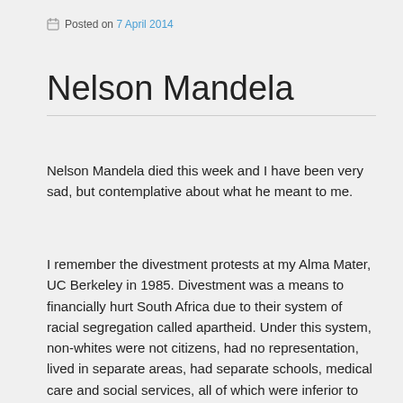Posted on 7 April 2014
Nelson Mandela
Nelson Mandela died this week and I have been very sad, but contemplative about what he meant to me.
I remember the divestment protests at my Alma Mater, UC Berkeley in 1985. Divestment was a means to financially hurt South Africa due to their system of racial segregation called apartheid. Under this system, non-whites were not citizens, had no representation, lived in separate areas, had separate schools, medical care and social services, all of which were inferior to those provided to whites.
My awareness of apartheid, as well as that of many